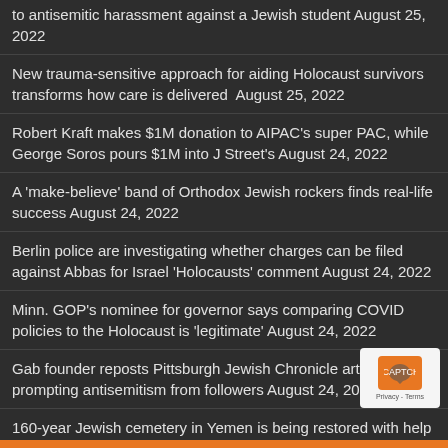to antisemitic harassment against a Jewish student August 25, 2022
New trauma-sensitive approach for aiding Holocaust survivors transforms how care is delivered  August 25, 2022
Robert Kraft makes $1M donation to AIPAC's super PAC, while George Soros pours $1M into J Street's August 24, 2022
A 'make-believe' band of Orthodox Jewish rockers finds real-life success August 24, 2022
Berlin police are investigating whether charges can be filed against Abbas for Israel 'Holocausts' comment August 24, 2022
Minn. GOP's nominee for governor says comparing COVID policies to the Holocaust is 'legitimate' August 24, 2022
Gab founder reposts Pittsburgh Jewish Chronicle article, prompting antisemitism from followers August 24, 2022
160-year Jewish cemetery in Yemen is being restored with help from breakaway government faction August 24, 2022
A novice baker has a soft, fresh take on your grandma's matzo bread August 24, 2022
Does Jewish representation still matter in New York City? Political